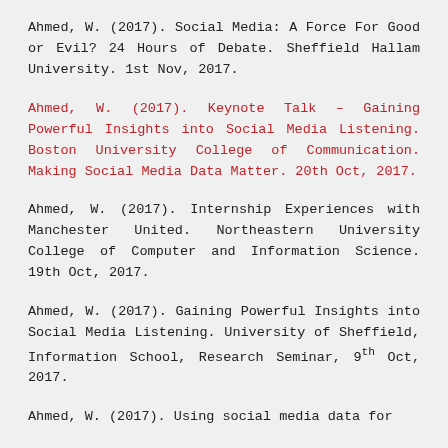Ahmed, W. (2017). Social Media: A Force For Good or Evil? 24 Hours of Debate. Sheffield Hallam University. 1st Nov, 2017.
Ahmed, W. (2017). Keynote Talk – Gaining Powerful Insights into Social Media Listening. Boston University College of Communication. Making Social Media Data Matter. 20th Oct, 2017.
Ahmed, W. (2017). Internship Experiences with Manchester United. Northeastern University College of Computer and Information Science. 19th Oct, 2017.
Ahmed, W. (2017). Gaining Powerful Insights into Social Media Listening. University of Sheffield, Information School, Research Seminar, 9th Oct, 2017.
Ahmed, W. (2017). Using social media data for